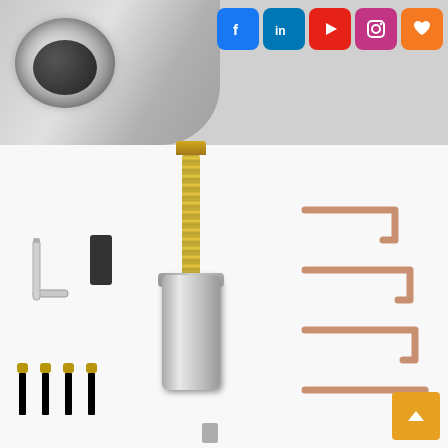[Figure (photo): Top banner showing a circular magnetic sensor or encoder product (chrome/black ring) on the left against a gray background, and social media icons (Facebook, LinkedIn, YouTube, Instagram, and a heart/wishlist button) on the right.]
[Figure (photo): Product kit photo on white background showing: a threaded bolt assembly with cylindrical body (center), an Allen/hex key wrench (left), a black rubber cylindrical spacer, four gold machine screws (bottom left), and multiple copper/zinc-plated J-shaped hooks/staples (right side). An orange scroll-to-top button is in the bottom right corner.]